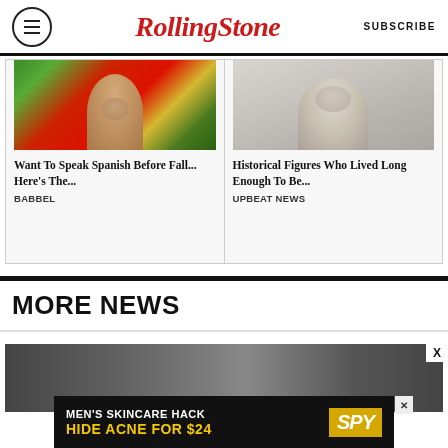Rolling Stone | SUBSCRIBE
[Figure (photo): Woman smiling with colorful background (green, red) — Babbel ad]
Want To Speak Spanish Before Fall... Here's The...
BABBEL
[Figure (photo): Black and white photo of older historical figure — Upbeat News ad]
Historical Figures Who Lived Long Enough To Be...
UPBEAT NEWS
MORE NEWS
[Figure (photo): Dark partial news image strip at bottom of page]
[Figure (infographic): Advertisement banner: MEN'S SKINCARE HACK / HIDE ACNE FOR $24 with SPY logo]